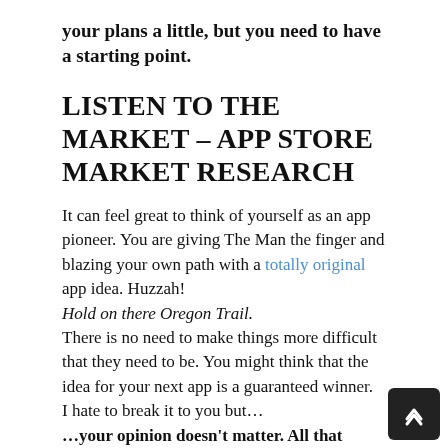your plans a little, but you need to have a starting point.
LISTEN TO THE MARKET – APP STORE MARKET RESEARCH
It can feel great to think of yourself as an app pioneer. You are giving The Man the finger and blazing your own path with a totally original app idea. Huzzah!
Hold on there Oregon Trail.
There is no need to make things more difficult that they need to be. You might think that the idea for your next app is a guaranteed winner.
I hate to break it to you but…
…your opinion doesn't matter. All that matters is what the market wants.
Therefore, we need to figure out what the public is interested in and is currently downloading. What